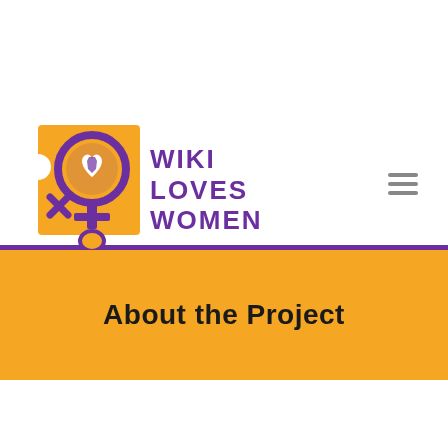[Figure (logo): Wiki Loves Women logo: orange square with purple female symbol containing a heart with Africa map, alongside bold purple text reading WIKI LOVES WOMEN]
About the Project
[Figure (screenshot): Video bar showing Wiki in Africa logo circle and text 'Wiki Loves Women in English' on dark background, with orange scroll-to-top button]